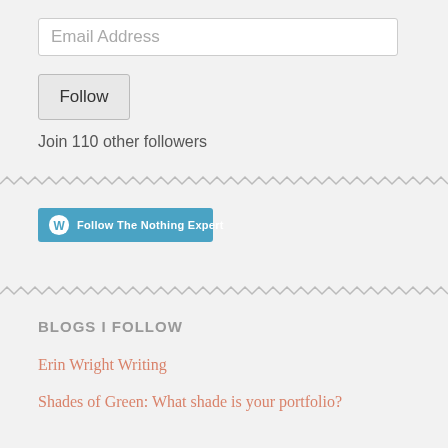Email Address
Follow
Join 110 other followers
[Figure (other): WordPress Follow button: 'Follow The Nothing Expert']
BLOGS I FOLLOW
Erin Wright Writing
Shades of Green: What shade is your portfolio?